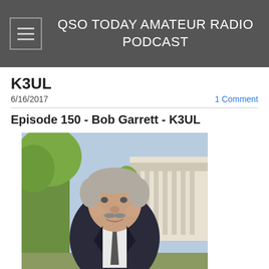QSO TODAY AMATEUR RADIO PODCAST
K3UL
6/16/2017
1 Comment
Episode 150 - Bob Garrett - K3UL
[Figure (photo): Portrait photo of Bob Garrett K3UL, an older man with grey hair and a moustache, wearing a dark suit jacket and tie, photographed outdoors with green trees and a classical building with columns in the background.]